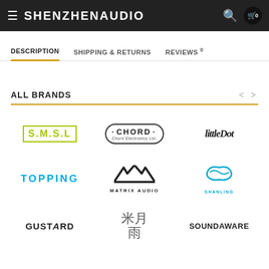SHENZHENAUDIO
DESCRIPTION | SHIPPING & RETURNS | REVIEWS 0
ALL BRANDS
[Figure (logo): S.M.S.L logo in yellow-green]
[Figure (logo): CHORD Electronics Ltd. logo with oval border]
[Figure (logo): Little Dot logo in italic serif]
[Figure (logo): TOPPING logo in cyan/blue]
[Figure (logo): Matrix Audio logo with M symbol]
[Figure (logo): Shanling logo with S symbol and arc]
[Figure (logo): GUSTARD logo in black bold]
[Figure (logo): Chinese characters logo (米月雨)]
[Figure (logo): SOUNDAWARE logo in black bold]